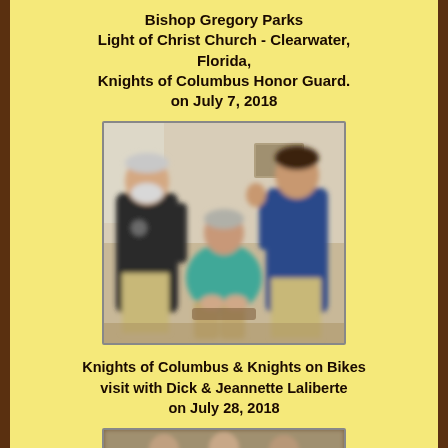Bishop Gregory Parks
Light of Christ Church - Clearwater, Florida,
Knights of Columbus Honor Guard.
on July 7, 2018
[Figure (photo): Group photo of three people: two standing men in dark shirts and one seated person in a teal shirt, taken indoors]
Knights of Columbus & Knights on Bikes visit with Dick & Jeannette Laliberte on July 28, 2018
[Figure (photo): Partial photo visible at bottom of page, appears to show people outdoors]